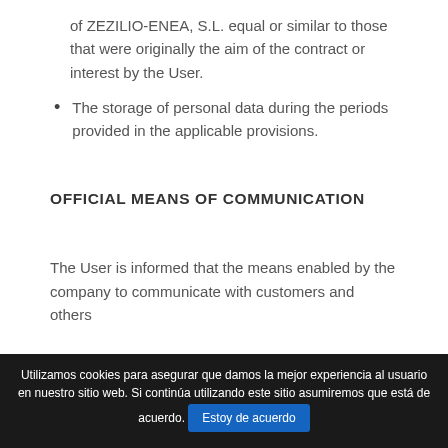of ZEZILIO-ENEA, S.L. equal or similar to those that were originally the aim of the contract or interest by the User.
The storage of personal data during the periods provided in the applicable provisions.
OFFICIAL MEANS OF COMMUNICATION
The User is informed that the means enabled by the company to communicate with customers and others
Utilizamos cookies para asegurar que damos la mejor experiencia al usuario en nuestro sitio web. Si continúa utilizando este sitio asumiremos que está de acuerdo.